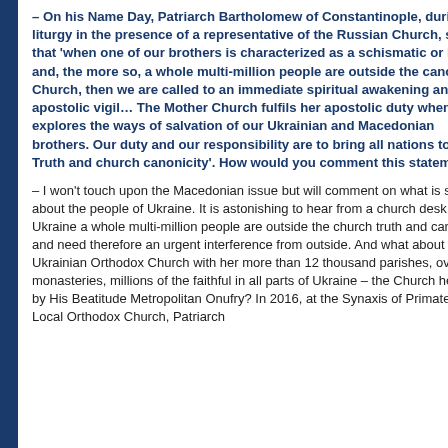Another refer...
Analytics
About this site
Russian versi...
Couldn't loa...
– On his Name Day, Patriarch Bartholomew of Constantinople, during the liturgy in the presence of a representative of the Russian Church, said that 'when one of our brothers is characterized as a schismatic or heretic and, the more so, a whole multi-million people are outside the canonical Church, then we are called to an immediate spiritual awakening and apostolic vigil… The Mother Church fulfils her apostolic duty when she explores the ways of salvation of our Ukrainian and Macedonian brothers. Our duty and our responsibility are to bring all nations to the Truth and church canonicity'. How would you comment this statement?
– I won't touch upon the Macedonian issue but will comment on what is said about the people of Ukraine. It is astonishing to hear from a church desk that in Ukraine a whole multi-million people are outside the church truth and canonicity and need therefore an urgent interference from outside. And what about the Ukrainian Orthodox Church with her more than 12 thousand parishes, over 200 monasteries, millions of the faithful in all parts of Ukraine – the Church headed by His Beatitude Metropolitan Onufry? In 2016, at the Synaxis of Primates of Local Orthodox Church, Patriarch